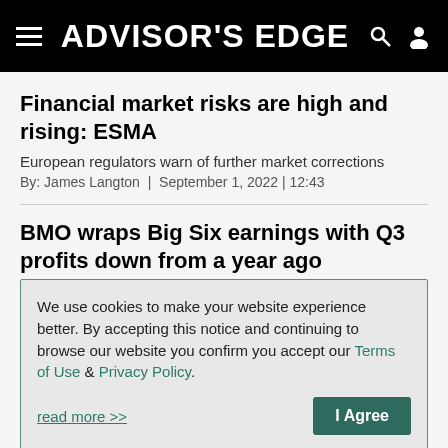ADVISOR'S EDGE
Financial market risks are high and rising: ESMA
European regulators warn of further market corrections
By: James Langton | September 1, 2022 | 12:43
BMO wraps Big Six earnings with Q3 profits down from a year ago
The wealth management division saw a 15% income dip
We use cookies to make your website experience better. By accepting this notice and continuing to browse our website you confirm you accept our Terms of Use & Privacy Policy.
read more >>
I Agree